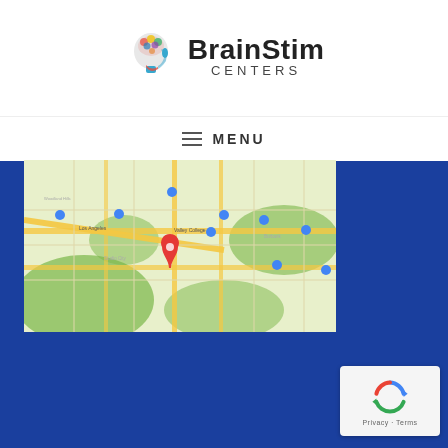[Figure (logo): BrainStim Centers logo with colorful brain/head silhouette icon and bold brand name]
MENU
[Figure (map): Google Maps screenshot showing Los Angeles area with a red location pin marker]
[Figure (other): reCAPTCHA badge with Privacy and Terms links]